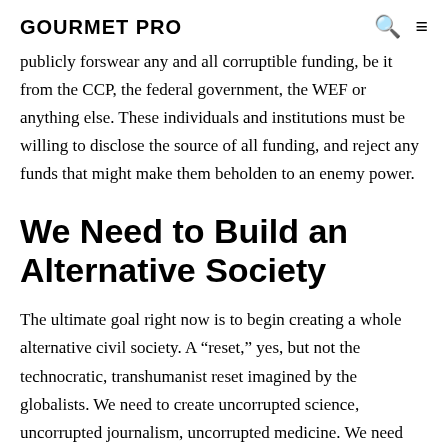GOURMET PRO
publicly forswear any and all corruptible funding, be it from the CCP, the federal government, the WEF or anything else. These individuals and institutions must be willing to disclose the source of all funding, and reject any funds that might make them beholden to an enemy power.
We Need to Build an Alternative Society
The ultimate goal right now is to begin creating a whole alternative civil society. A “reset,” yes, but not the technocratic, transhumanist reset imagined by the globalists. We need to create uncorrupted science, uncorrupted journalism, uncorrupted medicine. We need governors, business leaders and heads of universities and so on to take a